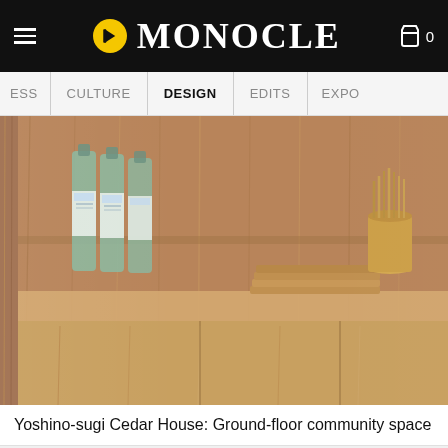MONOCLE
ESS | CULTURE | DESIGN | EDITS | EXPO
[Figure (photo): Wooden kitchen counter interior of Yoshino-sugi Cedar House showing Japanese sake bottles, wooden trays, chopstick holder, stacked ceramic plates, and wooden cabinetry — all in warm cedar wood tones.]
Yoshino-sugi Cedar House: Ground-floor community space